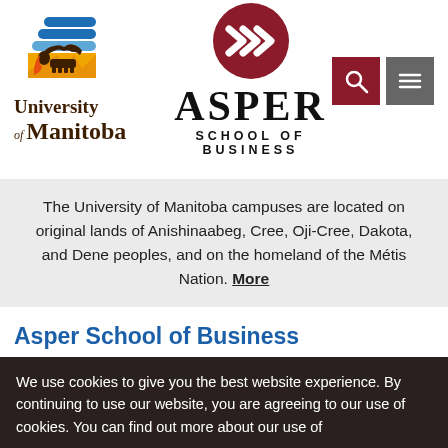[Figure (logo): University of Manitoba logo with bison icon and blue/gold/brown graphic mark]
[Figure (logo): Asper School of Business logo with dark red circle containing white chevron arrows, and the text ASPER SCHOOL OF BUSINESS]
[Figure (illustration): Search icon button (magnifying glass on dark red background) and menu icon button (three lines on grey background)]
The University of Manitoba campuses are located on original lands of Anishinaabeg, Cree, Oji-Cree, Dakota, and Dene peoples, and on the homeland of the Métis Nation. More
Asper School of Business
We use cookies to give you the best website experience. By continuing to use our website, you are agreeing to our use of cookies. You can find out more about our use of